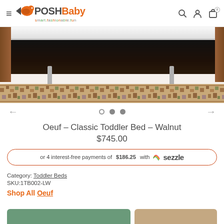Posh Baby — smart.fashionable.fun
[Figure (photo): Product photo showing the underside/bottom portion of the Oeuf Classic Toddler Bed in Walnut finish, with metallic legs visible and a colorful patterned rug underneath]
← (left arrow) ○ ● ● → (right arrow) — image carousel navigation
Oeuf – Classic Toddler Bed – Walnut
$745.00
or 4 interest-free payments of $186.25 with ◎ sezzle
Category: Toddler Beds
SKU:1TB002-LW
Shop All Oeuf